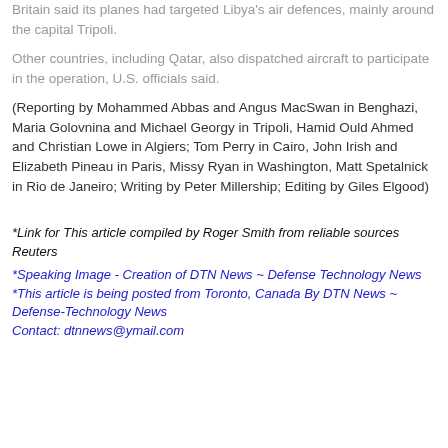Britain said its planes had targeted Libya's air defences, mainly around the capital Tripoli.
Other countries, including Qatar, also dispatched aircraft to participate in the operation, U.S. officials said.
(Reporting by Mohammed Abbas and Angus MacSwan in Benghazi, Maria Golovnina and Michael Georgy in Tripoli, Hamid Ould Ahmed and Christian Lowe in Algiers; Tom Perry in Cairo, John Irish and Elizabeth Pineau in Paris, Missy Ryan in Washington, Matt Spetalnick in Rio de Janeiro; Writing by Peter Millership; Editing by Giles Elgood)
*Link for This article compiled by Roger Smith from reliable sources Reuters
*Speaking Image - Creation of DTN News ~ Defense Technology News
*This article is being posted from Toronto, Canada By DTN News ~ Defense-Technology News
Contact: dtnnews@ymail.com